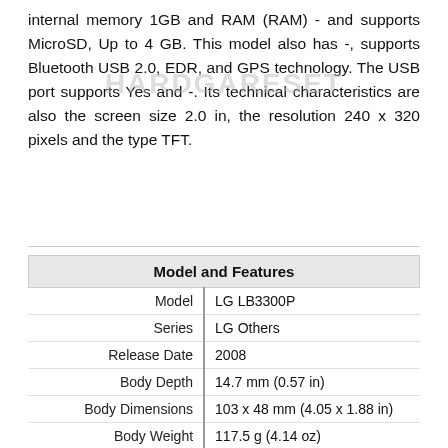internal memory 1GB and RAM (RAM) - and supports MicroSD, Up to 4 GB. This model also has -, supports Bluetooth USB 2.0, EDR, and GPS technology. The USB port supports Yes and -. Its technical characteristics are also the screen size 2.0 in, the resolution 240 x 320 pixels and the type TFT.
| Model and Features |
| --- |
| Model | LG LB3300P |
| Series | LG Others |
| Release Date | 2008 |
| Body Depth | 14.7 mm (0.57 in) |
| Body Dimensions | 103 x 48 mm (4.05 x 1.88 in) |
| Body Weight | 117.5 g (4.14 oz) |
| OS | - |
| Hardware |
| --- |
| CPU |  |